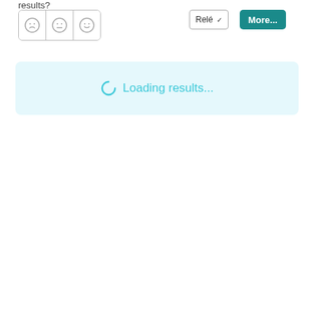[Figure (screenshot): Partial UI showing a label 'results?' with emoji feedback buttons (sad, neutral, happy faces) on the left, and 'Relé' with checkmark dropdown and 'More...' teal button on the right]
Loading results...